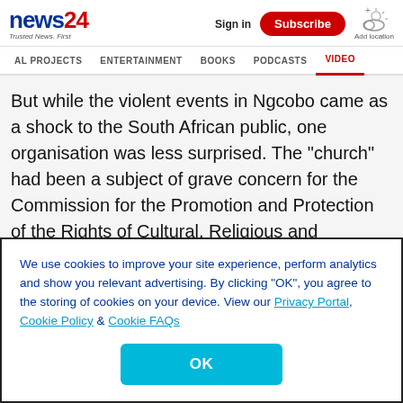news24 Trusted News. First | Sign in | Subscribe | Add location
AL PROJECTS   ENTERTAINMENT   BOOKS   PODCASTS   VIDEO
But while the violent events in Ngcobo came as a shock to the South African public, one organisation was less surprised. The “church” had been a subject of grave concern for the Commission for the Promotion and Protection of the Rights of Cultural, Religious and Linguistic Communities since 2016, when it rescued 18 children from the compound.
We use cookies to improve your site experience, perform analytics and show you relevant advertising. By clicking “OK”, you agree to the storing of cookies on your device. View our Privacy Portal, Cookie Policy & Cookie FAQs
OK